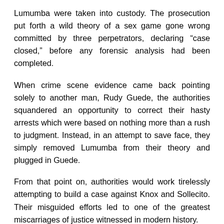Lumumba were taken into custody. The prosecution put forth a wild theory of a sex game gone wrong committed by three perpetrators, declaring “case closed,” before any forensic analysis had been completed.
When crime scene evidence came back pointing solely to another man, Rudy Guede, the authorities squandered an opportunity to correct their hasty arrests which were based on nothing more than a rush to judgment. Instead, in an attempt to save face, they simply removed Lumumba from their theory and plugged in Guede.
From that point on, authorities would work tirelessly attempting to build a case against Knox and Sollecito. Their misguided efforts led to one of the greatest miscarriages of justice witnessed in modern history.
On March 27, 2015, Amanda Knox and Raffaele Sollecito were fully exonerated by the Italian Supreme Court, after enduring over seven years of pain and suffering. The high court finally put an end to their